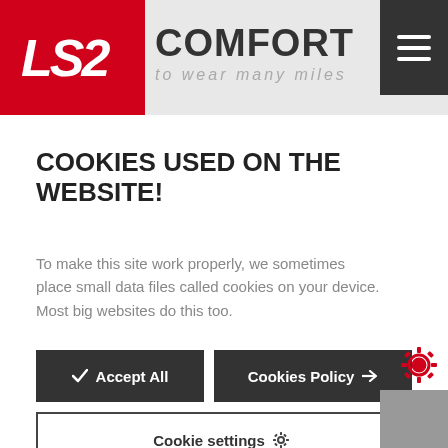[Figure (logo): LS2 Comfort brand header with red logo box, COMFORT text in bold, tagline 'to wear many miles', and hamburger menu button on the right]
COOKIES USED ON THE WEBSITE!
To make this site work properly, we sometimes place small data files called cookies on your device. Most big websites do this too.
Accept All | Cookies Policy → | Cookie settings ⚙